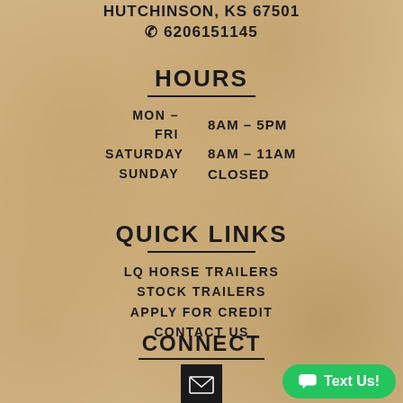HUTCHINSON, KS 67501
☎ 6206151145
HOURS
MON - FRI   8AM - 5PM
SATURDAY   8AM - 11AM
SUNDAY   CLOSED
QUICK LINKS
LQ HORSE TRAILERS
STOCK TRAILERS
APPLY FOR CREDIT
CONTACT US
CONNECT
[Figure (illustration): Email icon in black square box]
Text Us!